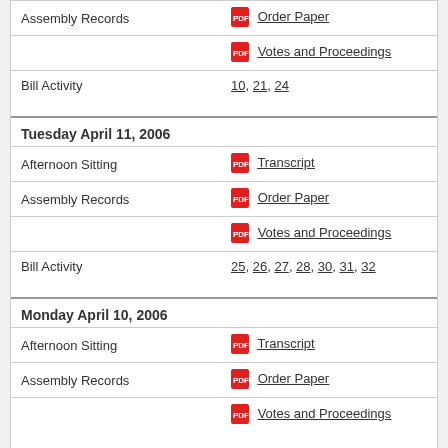| Assembly Records | Order Paper |
|  | Votes and Proceedings |
| Bill Activity | 10, 21, 24 |
Tuesday April 11, 2006
| Afternoon Sitting | Transcript |
| Assembly Records | Order Paper |
|  | Votes and Proceedings |
| Bill Activity | 25, 26, 27, 28, 30, 31, 32 |
Monday April 10, 2006
| Afternoon Sitting | Transcript |
| Assembly Records | Order Paper |
|  | Votes and Proceedings |